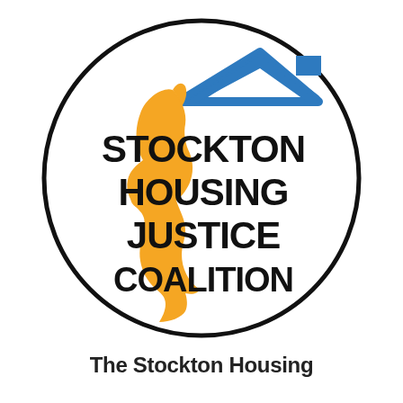[Figure (logo): Stockton Housing Justice Coalition logo: a circular logo with a black border containing a golden/orange silhouette of a woman's face in profile on the left, a blue house/roof shape at the top center-right, and bold black text reading STOCKTON HOUSING JUSTICE COALITION on the right side.]
The Stockton Housing